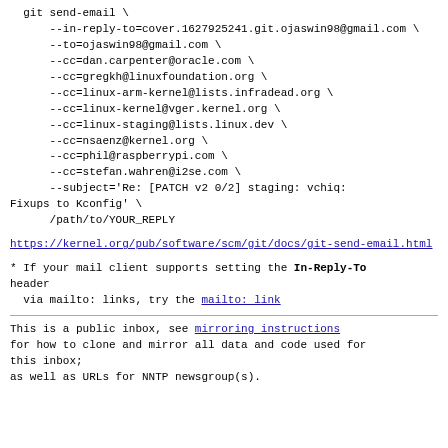git send-email \
    --in-reply-to=cover.1627925241.git.ojaswin98@gmail.com \
    --to=ojaswin98@gmail.com \
    --cc=dan.carpenter@oracle.com \
    --cc=gregkh@linuxfoundation.org \
    --cc=linux-arm-kernel@lists.infradead.org \
    --cc=linux-kernel@vger.kernel.org \
    --cc=linux-staging@lists.linux.dev \
    --cc=nsaenz@kernel.org \
    --cc=phil@raspberrypi.com \
    --cc=stefan.wahren@i2se.com \
    --subject='Re: [PATCH v2 0/2] staging: vchiq: Fixups to Kconfig' \
    /path/to/YOUR_REPLY
https://kernel.org/pub/software/scm/git/docs/git-send-email.html
* If your mail client supports setting the In-Reply-To header
  via mailto: links, try the mailto: link
This is a public inbox, see mirroring instructions
for how to clone and mirror all data and code used for this inbox;
as well as URLs for NNTP newsgroup(s).